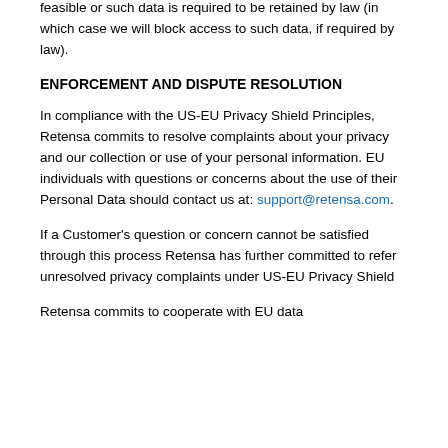feasible or such data is required to be retained by law (in which case we will block access to such data, if required by law).
ENFORCEMENT AND DISPUTE RESOLUTION
In compliance with the US-EU Privacy Shield Principles, Retensa commits to resolve complaints about your privacy and our collection or use of your personal information. EU individuals with questions or concerns about the use of their Personal Data should contact us at: support@retensa.com.
If a Customer's question or concern cannot be satisfied through this process Retensa has further committed to refer unresolved privacy complaints under US-EU Privacy Shield
Retensa commits to cooperate with EU data